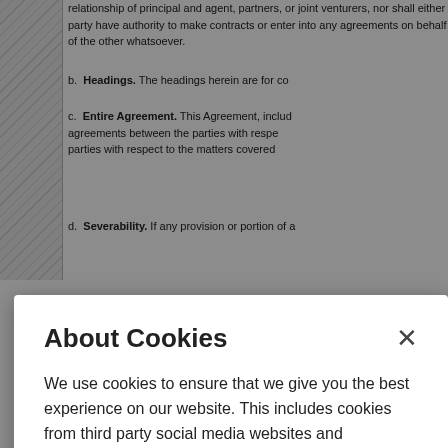relationship of principal and agent, partners, or joint venturers, nor shall either party have authority to make contracts or enter into any agreements on behalf of the other whatsoever.
b. Headings. The headings herein are for convenience only and shall have no legal effect whatsoever.
c. Entire Agreement. This Agreement, including the Exhibits hereto, constitutes the entire agreement between the parties with respect to its subject matter and supersedes all prior agreements between the parties with respect to the matters covered herein.
d. Severability. If any provision or portion of a
[Figure (screenshot): Cookie consent modal dialog with title 'About Cookies', body text explaining cookie usage, a 'Cookie Notice' link, a blue 'Got It' button, and a 'Cookies Settings' link. Background shows a legal document partially visible.]